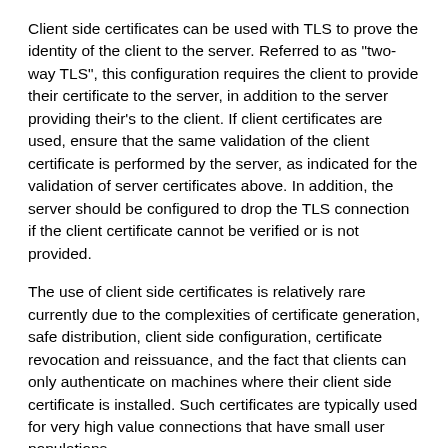Client side certificates can be used with TLS to prove the identity of the client to the server. Referred to as "two-way TLS", this configuration requires the client to provide their certificate to the server, in addition to the server providing their's to the client. If client certificates are used, ensure that the same validation of the client certificate is performed by the server, as indicated for the validation of server certificates above. In addition, the server should be configured to drop the TLS connection if the client certificate cannot be verified or is not provided.
The use of client side certificates is relatively rare currently due to the complexities of certificate generation, safe distribution, client side configuration, certificate revocation and reissuance, and the fact that clients can only authenticate on machines where their client side certificate is installed. Such certificates are typically used for very high value connections that have small user populations.
Certificate and Public Key Pinning
Hybrid and native applications can take advantage of certificate